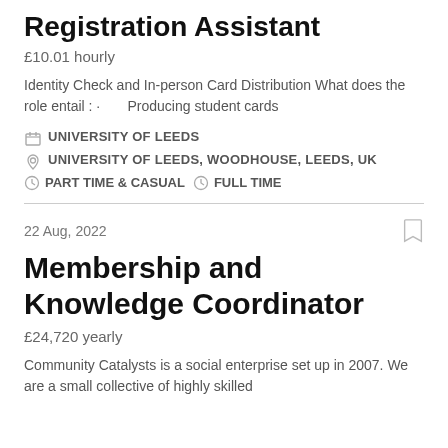Registration Assistant
£10.01 hourly
Identity Check and In-person Card Distribution What does the role entail : ·  Producing student cards
UNIVERSITY OF LEEDS
UNIVERSITY OF LEEDS, WOODHOUSE, LEEDS, UK
PART TIME & CASUAL  FULL TIME
22 Aug, 2022
Membership and Knowledge Coordinator
£24,720 yearly
Community Catalysts is a social enterprise set up in 2007. We are a small collective of highly skilled